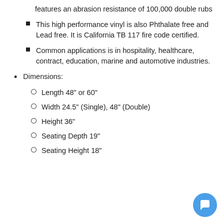features an abrasion resistance of 100,000 double rubs
This high performance vinyl is also Phthalate free and Lead free. It is California TB 117 fire code certified.
Common applications is in hospitality, healthcare, contract, education, marine and automotive industries.
Dimensions:
Length 48" or 60"
Width 24.5" (Single), 48" (Double)
Height 36"
Seating Depth 19"
Seating Height 18"